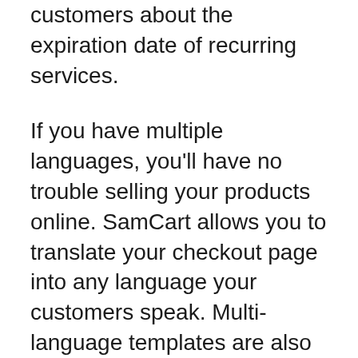customers about the expiration date of recurring services.
If you have multiple languages, you'll have no trouble selling your products online. SamCart allows you to translate your checkout page into any language your customers speak. Multi-language templates are also possible, even if they are for international markets. To create a multilingual shopping basket, you can choose between “World Wide” and “One-Page Funnel”. Simply scroll down the page to customize it, and then save it.
SamCart has a lot of built-in integrations with popular 3rd party apps, including Zapier and Infusionsoft. It can also be used to integrate